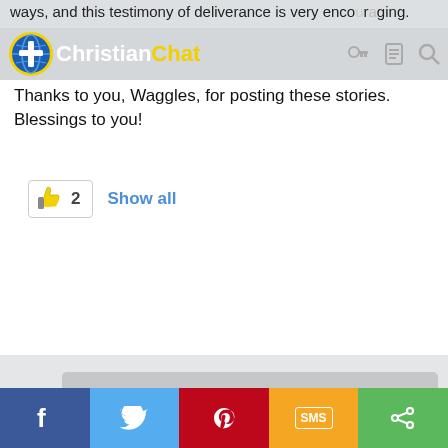ways, and this testimony of deliverance is very encouraging.
[Figure (logo): ChristianChat logo with globe/cross icon, white text 'Christian' and yellow text 'Chat']
Thanks to you, Waggles, for posting these stories. Blessings to you!
👍 2  Show all
You must log in or register to reply here.
Share: [facebook] [twitter] [google+] [reddit] [pinterest] [tumblr] [whatsapp] [email] [link]
< Testimonies
[facebook] [twitter] [pinterest] [SMS] [share]